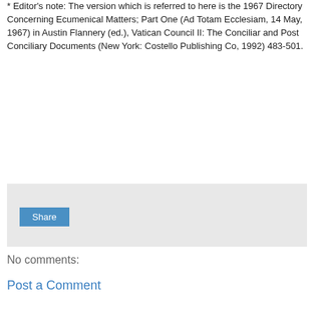* Editor's note: The version which is referred to here is the 1967 Directory Concerning Ecumenical Matters; Part One (Ad Totam Ecclesiam, 14 May, 1967) in Austin Flannery (ed.), Vatican Council II: The Conciliar and Post Conciliary Documents (New York: Costello Publishing Co, 1992) 483-501.
[Figure (other): Light grey share widget box with a blue Share button]
No comments:
Post a Comment